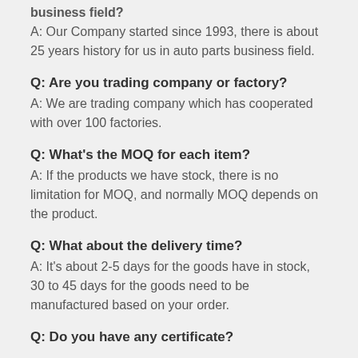business field?
A: Our Company started since 1993, there is about 25 years history for us in auto parts business field.
Q: Are you trading company or factory?
A: We are trading company which has cooperated with over 100 factories.
Q: What's the MOQ for each item?
A: If the products we have stock, there is no limitation for MOQ, and normally MOQ depends on the product.
Q: What about the delivery time?
A: It's about 2-5 days for the goods have in stock, 30 to 45 days for the goods need to be manufactured based on your order.
Q: Do you have any certificate?